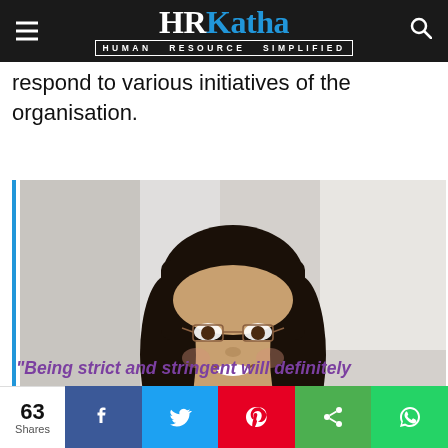HRKatha - HUMAN RESOURCE SIMPLIFIED
respond to various initiatives of the organisation.
[Figure (photo): Smiling young woman with glasses wearing a dark blazer, professional headshot photo with light background. Blue left border accent.]
“Being strict and stringent will definitely
63 Shares [Facebook] [Twitter] [Pinterest] [Share] [WhatsApp]